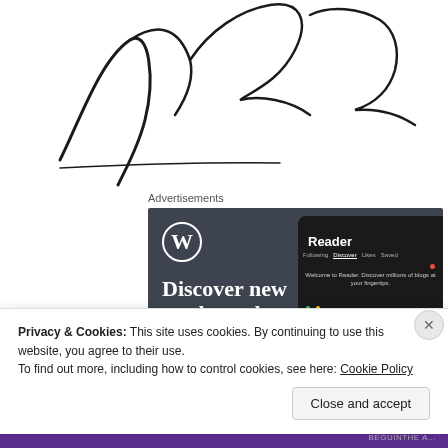[Figure (illustration): Handwritten cursive signature/text in black ink on white background]
Advertisements
[Figure (screenshot): WordPress advertisement: 'Discover new reads on the go.' showing the WordPress Reader app interface with Discover tab, blog recommendations, and tags like Family, Reading, Music.]
Privacy & Cookies: This site uses cookies. By continuing to use this website, you agree to their use.
To find out more, including how to control cookies, see here: Cookie Policy
Close and accept